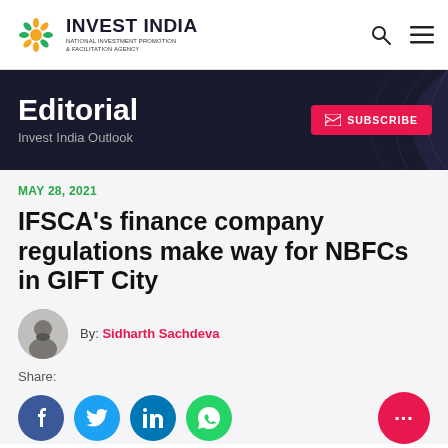INVEST INDIA - NATIONAL INVESTMENT PROMOTION & FACILITATION AGENCY
Editorial
Invest India Outlook
MAY 28, 2021
IFSCA's finance company regulations make way for NBFCs in GIFT City
By: Sidharth Sachdeva
Share: